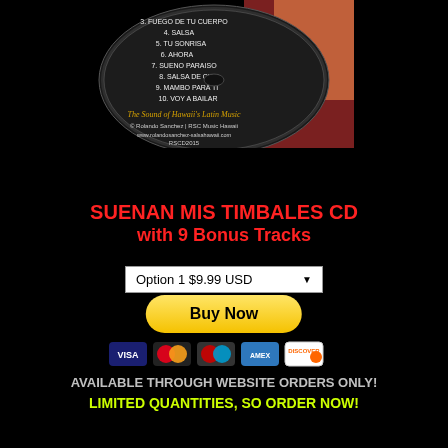[Figure (illustration): CD disc with track listing and 'The Sound of Hawaii's Latin Music' text, © Rolando Sanchez | RSC Music Hawaii, www.rolandosanchez-salsahawaii.com, RSCD2015]
SUENAN MIS TIMBALES CD
with 9 Bonus Tracks
Option 1 $9.99 USD
Buy Now
[Figure (illustration): Payment method icons: VISA, Mastercard, Maestro, American Express, Discover, MaestroNet]
AVAILABLE THROUGH WEBSITE ORDERS ONLY!
LIMITED QUANTITIES, SO ORDER NOW!